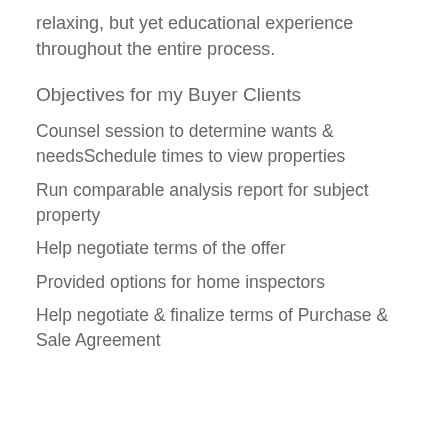relaxing, but yet educational experience throughout the entire process.
Objectives for my Buyer Clients
Counsel session to determine wants & needsSchedule times to view properties
Run comparable analysis report for subject property
Help negotiate terms of the offer
Provided options for home inspectors
Help negotiate & finalize terms of Purchase & Sale Agreement